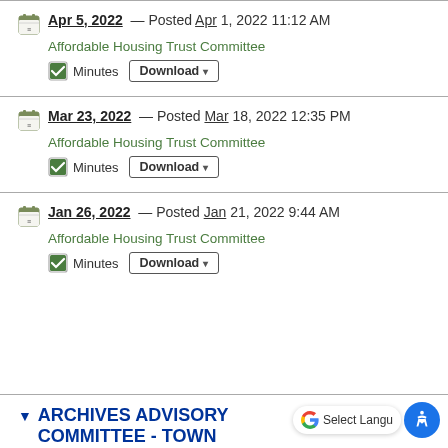Apr 5, 2022 — Posted Apr 1, 2022 11:12 AM
Affordable Housing Trust Committee
Minutes  Download
Mar 23, 2022 — Posted Mar 18, 2022 12:35 PM
Affordable Housing Trust Committee
Minutes  Download
Jan 26, 2022 — Posted Jan 21, 2022 9:44 AM
Affordable Housing Trust Committee
Minutes  Download
▼ ARCHIVES ADVISORY COMMITTEE - TOWN